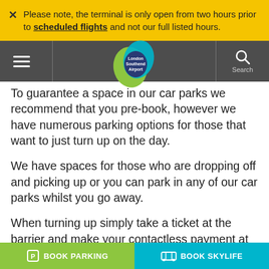Please note, the terminal is only open from two hours prior to scheduled flights and not our full listed hours.
[Figure (logo): London Southend Airport logo — overlapping green and blue teardrop shapes with dark text inside]
To guarantee a space in our car parks we recommend that you pre-book, however we have numerous parking options for those that want to just turn up on the day.
We have spaces for those who are dropping off and picking up or you can park in any of our car parks whilst you go away.
When turning up simply take a ticket at the barrier and make your contactless payment at any one of our Payment Machines, either in the car park or in the terminal building. You can also pay by card at any of
BOOK PARKING
BOOK SKYLIFE